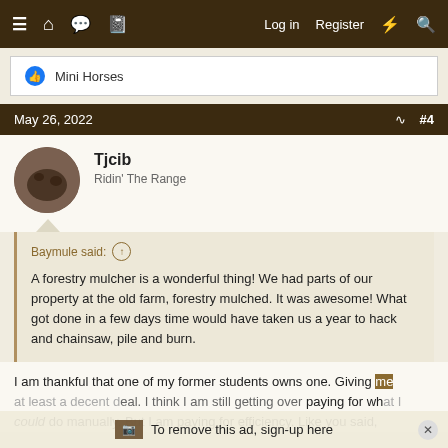≡ 🏠 💬 📋  Log in  Register ⚡ 🔍
👍 Mini Horses
May 26, 2022  #4
Tjcib
Ridin' The Range
Baymule said: ↑

A forestry mulcher is a wonderful thing! We had parts of our property at the old farm, forestry mulched. It was awesome! What got done in a few days time would have taken us a year to hack and chainsaw, pile and burn.
I am thankful that one of my former students owns one. Giving me at least a decent deal. I think I am still getting over paying for what I could do manually. But I am paying for efficiency. Like you said,
To remove this ad, sign-up here